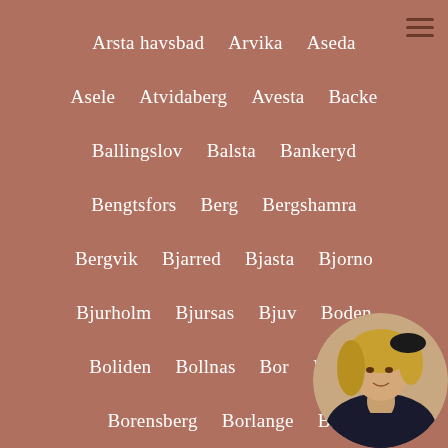Arsta havsbad  Arvika  Aseda
Asele  Atvidaberg  Avesta  Backe
Ballingslov  Balsta  Bankeryd
Bengtsfors  Berg  Bergshamra
Bergvik  Bjarred  Bjasta  Bjorno
Bjurholm  Bjursas  Bjuv  Boden
Boliden  Bollnas  Bor  Boras
Borensberg  Borlange  Bo...
Boxholm  Brantevik  Br...
Bruksvallarna  Dalaro  Da...
[Figure (photo): Circular avatar photo of a blonde woman in bottom right corner]